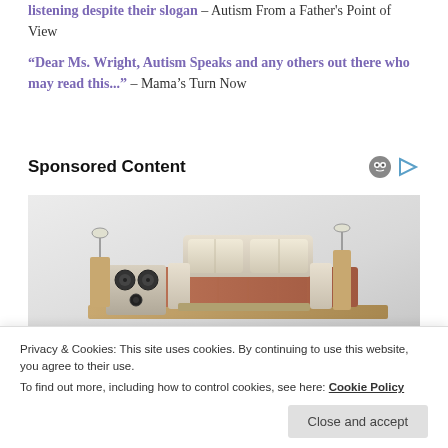listening despite their slogan – Autism From a Father's Point of View
"Dear Ms. Wright, Autism Speaks and any others out there who may read this..." – Mama's Turn Now
Sponsored Content
[Figure (photo): Advertisement image showing a modern luxury sofa/bed with speakers and entertainment system components, photographed against a light grey background]
Privacy & Cookies: This site uses cookies. By continuing to use this website, you agree to their use. To find out more, including how to control cookies, see here: Cookie Policy
Close and accept